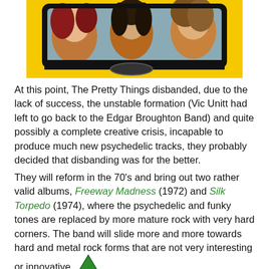[Figure (photo): Partial album cover photo showing band members in a car with yellow background, faces visible through car window]
At this point, The Pretty Things disbanded, due to the lack of success, the unstable formation (Vic Unitt had left to go back to the Edgar Broughton Band) and quite possibly a complete creative crisis, incapable to produce much new psychedelic tracks, they probably decided that disbanding was for the better.
They will reform in the 70's and bring out two rather valid albums, Freeway Madness (1972) and Silk Torpedo (1974), where the psychedelic and funky tones are replaced by more mature rock with very hard corners. The band will slide more and more towards hard and metal rock forms that are not very interesting or innovative.